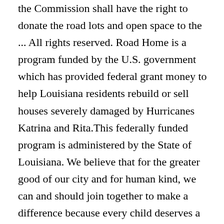the Commission shall have the right to donate the road lots and open space to the ... All rights reserved. Road Home is a program funded by the U.S. government which has provided federal grant money to help Louisiana residents rebuild or sell houses severely damaged by Hurricanes Katrina and Rita.This federally funded program is administered by the State of Louisiana. We believe that for the greater good of our city and for human kind, we can and should join together to make a difference because every child deserves a home. Download a copy of The Road Home 2020 Wish List. As businesses temporarily close down, some families will lose much or all of their income in the weeks to come. Your